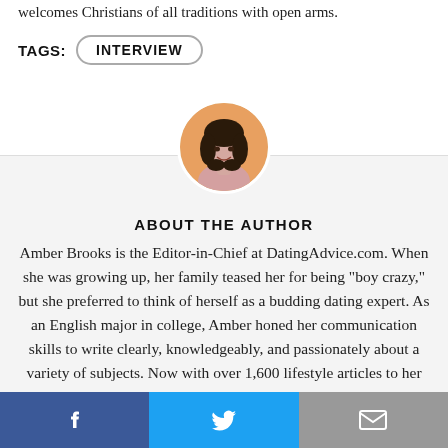welcomes Christians of all traditions with open arms.
TAGS: INTERVIEW
ABOUT THE AUTHOR
[Figure (photo): Circular headshot of Amber Brooks, a woman with dark curly hair, smiling, with an orange background.]
Amber Brooks is the Editor-in-Chief at DatingAdvice.com. When she was growing up, her family teased her for being "boy crazy," but she preferred to think of herself as a budding dating expert. As an English major in college, Amber honed her communication skills to write clearly, knowledgeably, and passionately about a variety of subjects. Now with over 1,600 lifestyle articles to her name, Amber brings her tireless wit and relatable experiences to